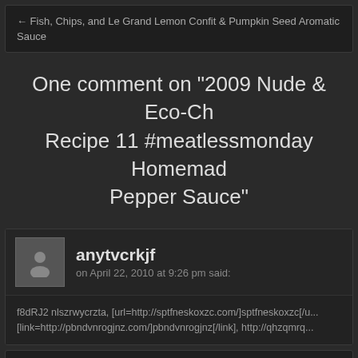← Fish, Chips, and Le Grand Lemon Confit & Pumpkin Seed Aromatic Sauce
One comment on “2009 Nude & Eco-Ch... Recipe 11 #meatlessmonday Homemad... Pepper Sauce”
anytvcrkjf
on April 22, 2010 at 9:26 pm said:
f8dRJ2 nlszrwycrzta, [url=http://sptfneskoxzc.com/]sptfneskoxzc[/u... [link=http://pbndvnrogjnz.com/]pbndvnrogjnz[/link], http://qhzqmrq...
Leave a Reply